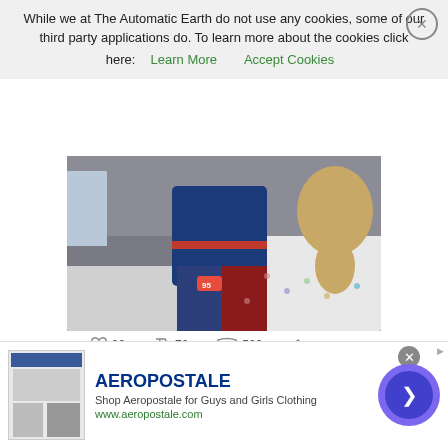While we at The Automatic Earth do not use any cookies, some of our third party applications do. To learn more about the cookies click here: Learn More   Accept Cookies
[Figure (photo): A child in blue pajamas and Cars-themed pants standing on a bed, with a golden dog on the right side of the bed.]
96  70  503
[Figure (other): Aeropostale advertisement banner with logo, shop text, and navigation arrow button]